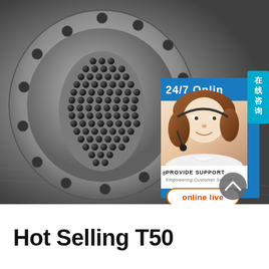[Figure (photo): Industrial heat exchanger tube sheet / shell and tube heat exchanger end plate with numerous circular holes, flanged circular metal disc, photographed outdoors on concrete surface. Overlaid with a customer service chat widget showing '24/7 Online' text, a female customer service agent with headset, 'PROVIDE SUPPORT® Empowering Customer Service' branding, and an 'online live' button. A Chinese language tab '在线咨询' is visible on the right edge.]
Hot Selling T50